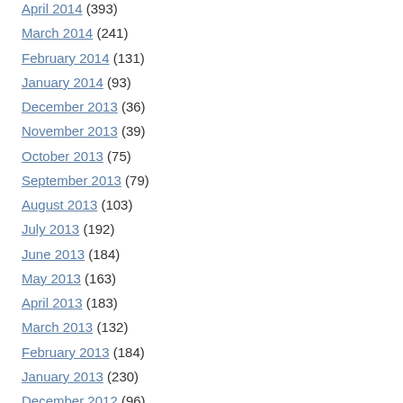April 2014 (393)
March 2014 (241)
February 2014 (131)
January 2014 (93)
December 2013 (36)
November 2013 (39)
October 2013 (75)
September 2013 (79)
August 2013 (103)
July 2013 (192)
June 2013 (184)
May 2013 (163)
April 2013 (183)
March 2013 (132)
February 2013 (184)
January 2013 (230)
December 2012 (96)
November 2012 (206)